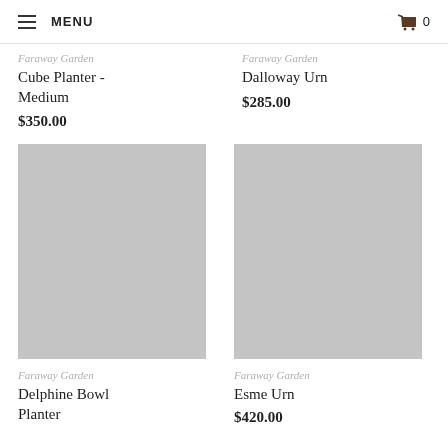MENU  🛒 0
Faraway Garden
Cube Planter - Medium
$350.00
Faraway Garden
Dalloway Urn
$285.00
[Figure (photo): Gray placeholder image for Faraway Garden Delphine Bowl Planter]
Faraway Garden
Delphine Bowl Planter
[Figure (photo): Gray placeholder image for Faraway Garden Esme Urn]
Faraway Garden
Esme Urn
$420.00